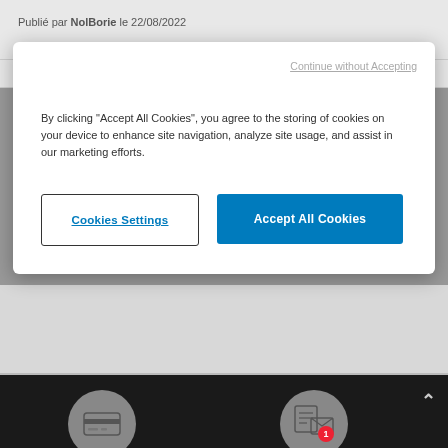Publié par NolBorie le 22/08/2022
Continue without Accepting
By clicking "Accept All Cookies", you agree to the storing of cookies on your device to enhance site navigation, analyze site usage, and assist in our marketing efforts.
Cookies Settings
Accept All Cookies
Publié par duartesv le 01/08/2022
[Figure (illustration): Cookie consent modal dialog over a grayed-out webpage background. Two circular icons at the bottom on a dark background: a credit card icon and an email/notification icon with a red badge showing '1'.]